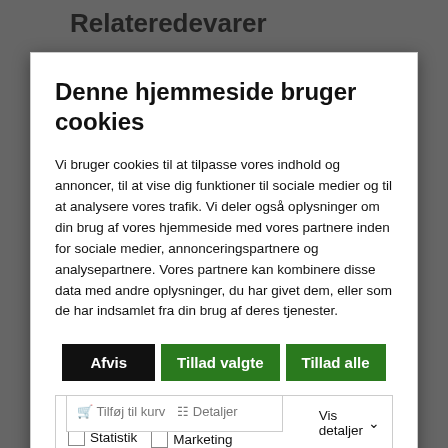Relateredevarer
Denne hjemmeside bruger cookies
Vi bruger cookies til at tilpasse vores indhold og annoncer, til at vise dig funktioner til sociale medier og til at analysere vores trafik. Vi deler også oplysninger om din brug af vores hjemmeside med vores partnere inden for sociale medier, annonceringspartnere og analysepartnere. Vores partnere kan kombinere disse data med andre oplysninger, du har givet dem, eller som de har indsamlet fra din brug af deres tjenester.
Afvis
Tillad valgte
Tillad alle
Nødvendig  Præferencer  Statistik  Marketing  Vis detaljer